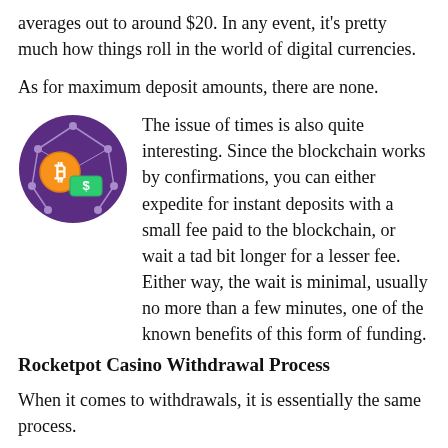averages out to around $20. In any event, it's pretty much how things roll in the world of digital currencies.
As for maximum deposit amounts, there are none.
[Figure (illustration): Circular purple icon featuring a Bitcoin symbol and green dollar sign with circuit/network lines connecting nodes on a dark purple background]
The issue of times is also quite interesting. Since the blockchain works by confirmations, you can either expedite for instant deposits with a small fee paid to the blockchain, or wait a tad bit longer for a lesser fee. Either way, the wait is minimal, usually no more than a few minutes, one of the known benefits of this form of funding.
Rocketpot Casino Withdrawal Process
When it comes to withdrawals, it is essentially the same process.
Step 1: Click on your username and choose 'Withdraw' from the dropdown menu.
Step 2: Choose the cryptocurrency you'd like to withdraw*.